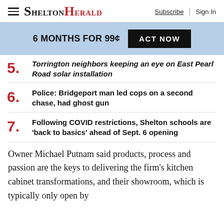SHELTON HERALD — Subscribe | Sign In
6 MONTHS FOR 99¢  ACT NOW
5. Torrington neighbors keeping an eye on East Pearl Road solar installation
6. Police: Bridgeport man led cops on a second chase, had ghost gun
7. Following COVID restrictions, Shelton schools are 'back to basics' ahead of Sept. 6 opening
Owner Michael Putnam said products, process and passion are the keys to delivering the firm's kitchen cabinet transformations, and their showroom, which is typically only open by